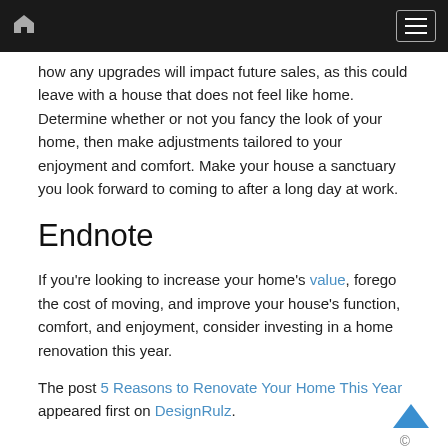Navigation bar with home icon and hamburger menu
how any upgrades will impact future sales, as this could leave with a house that does not feel like home. Determine whether or not you fancy the look of your home, then make adjustments tailored to your enjoyment and comfort. Make your house a sanctuary you look forward to coming to after a long day at work.
Endnote
If you’re looking to increase your home’s value, forego the cost of moving, and improve your house’s function, comfort, and enjoyment, consider investing in a home renovation this year.
The post 5 Reasons to Renovate Your Home This Year appeared first on DesignRulz.
©